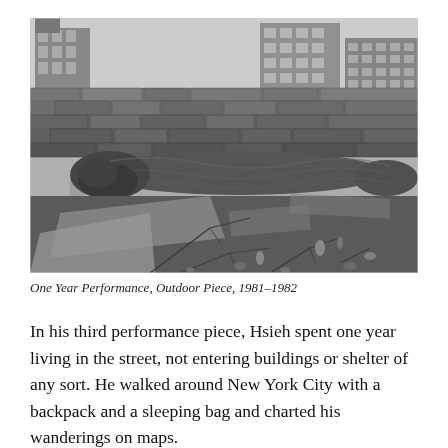[Figure (photo): Black and white photograph showing a sleeping bag lying on cardboard and debris on the ground against a stacked stone wall, with urban buildings visible in the background. Branches and litter are scattered around.]
One Year Performance, Outdoor Piece, 1981–1982
In his third performance piece, Hsieh spent one year living in the street, not entering buildings or shelter of any sort. He walked around New York City with a backpack and a sleeping bag and charted his wanderings on maps.